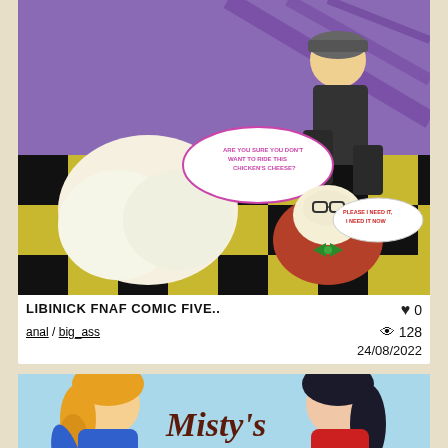[Figure (illustration): Anime/manga style comic panel showing cartoon characters in a checkered floor setting with purple background. Shows anthropomorphic chicken character and a human figure. Speech bubbles with text 'ARE YOU SURE YOU DON'T WANT TO RIDE THIS CHICKEN'S CHEESE?' and 'PLEASE I NEED IT, I NEED IT NOW'.]
LIBINICK FNAF COMIC FIVE..
♥ 0
anal / big_ass
👁 128
24/08/2022
[Figure (illustration): Anime/manga style illustration title card showing 'Misty's Revenge' with two female characters, one blonde in blue outfit on left and one dark-haired in red outfit on right, with orange flame/fire element in center bottom.]